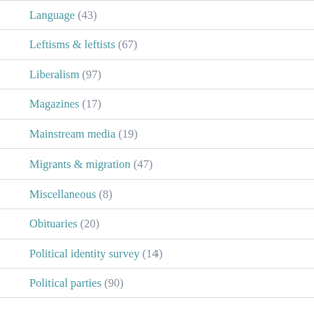Language (43)
Leftisms & leftists (67)
Liberalism (97)
Magazines (17)
Mainstream media (19)
Migrants & migration (47)
Miscellaneous (8)
Obituaries (20)
Political identity survey (14)
Political parties (90)